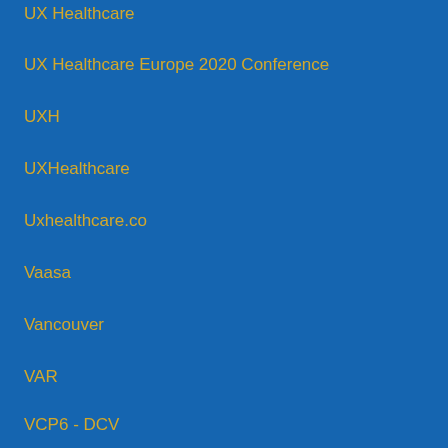UX Healthcare
UX Healthcare Europe 2020 Conference
UXH
UXHealthcare
Uxhealthcare.co
Vaasa
Vancouver
VAR
VCP6 - DCV
Velocity